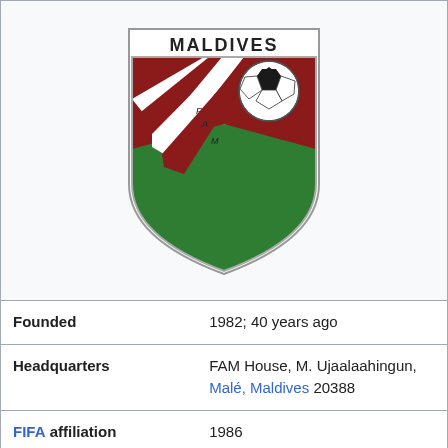[Figure (logo): Football Association of Maldives (FAM) shield logo with red, white, and green colors, soccer ball, and letters F, A, M. Text 'MALDIVES' above shield.]
| Founded | 1982; 40 years ago |
| Headquarters | FAM House, M. Ujaalaahingun, Malé, Maldives 20388 |
| FIFA affiliation | 1986 |
| AFC affiliation | 1984 (associate member),[1] 1986 |